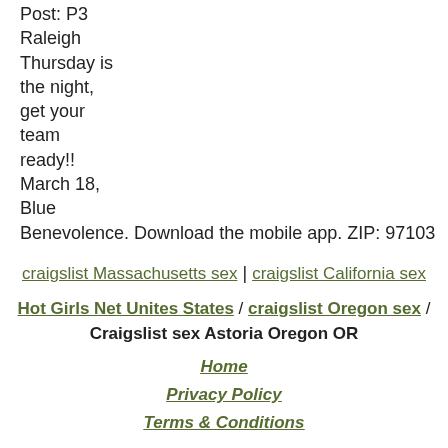Post: P3 Raleigh Thursday is the night, get your team ready!! March 18, Blue Benevolence. Download the mobile app. ZIP: 97103
craigslist Massachusetts sex | craigslist California sex
Hot Girls Net Unites States / craigslist Oregon sex / Craigslist sex Astoria Oregon OR
Home
Privacy Policy
Terms & Conditions